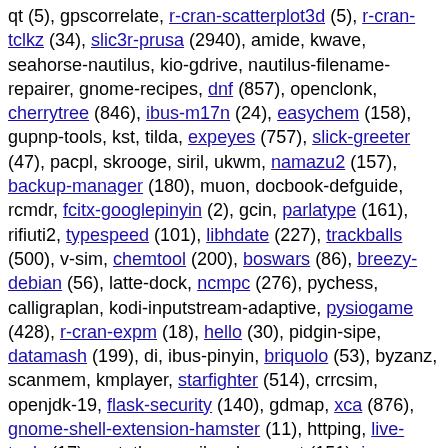qt (5), gpscorrelate, r-cran-scatterplot3d (5), r-cran-tclkz (34), slic3r-prusa (2940), amide, kwave, seahorse-nautilus, kio-gdrive, nautilus-filename-repairer, gnome-recipes, dnf (857), openclonk, cherrytree (846), ibus-m17n (24), easychem (158), gupnp-tools, kst, tilda, expeyes (757), slick-greeter (47), pacpl, skrooge, siril, ukwm, namazu2 (157), backup-manager (180), muon, docbook-defguide, rcmdr, fcitx-googlepinyin (2), gcin, parlatype (161), rifiuti2, typespeed (101), libhdate (227), trackballs (500), v-sim, chemtool (200), boswars (86), breezy-debian (56), latte-dock, ncmpc (276), pychess, calligraplan, kodi-inputstream-adaptive, pysiogame (428), r-cran-expm (18), hello (30), pidgin-sipe, datamash (199), di, ibus-pinyin, briquolo (53), byzanz, scanmem, kmplayer, starfighter (514), crrcsim, openjdk-19, flask-security (140), gdmap, xca (876), gnome-shell-extension-hamster (11), httping, live-tools (17), metatheme-gilouche, wput (151), isoquery (21), bibletime (252), gtypist (91), ibus-anthy (194), piper, pppconfig (137), pushover, ktikz (73), amsynth, gprename, screenkey, vdr-plugin-xineliboutput, ceferino (79),